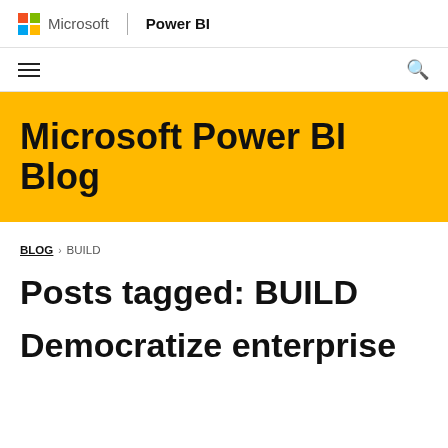Microsoft | Power BI
[Figure (logo): Microsoft logo (colored grid) with 'Microsoft' text, vertical divider, and 'Power BI' bold text]
Navigation bar with hamburger menu icon and search icon
Microsoft Power BI Blog
BLOG > BUILD
Posts tagged: BUILD
Democratize enterprise